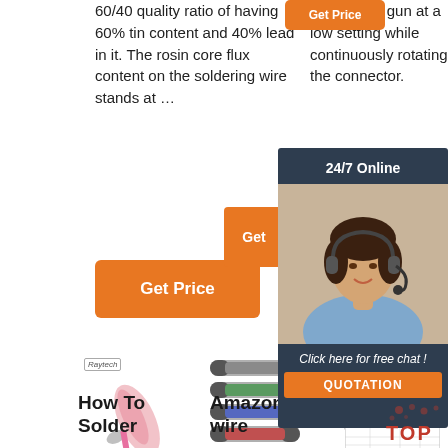60/40 quality ratio of having 60% tin content and 40% lead in it. The rosin core flux content on the soldering wire stands at …
Use a heat gun at a low setting while continuously rotating the connector.
[Figure (screenshot): Orange Get Price button at top center]
[Figure (screenshot): Orange Get Price button below left text]
[Figure (screenshot): Orange Get button small, left of chat panel]
[Figure (screenshot): 24/7 Online chat panel overlay with agent photo, 'Click here for free chat!' text, and QUOTATION button]
[Figure (photo): Raytech branded heat shrink solder connector product image]
[Figure (photo): Multiple heat shrink solder connectors product image]
[Figure (photo): Colored wires and table/spec sheet image]
How To Solder
Amazon.com wire
Wirefy Solder